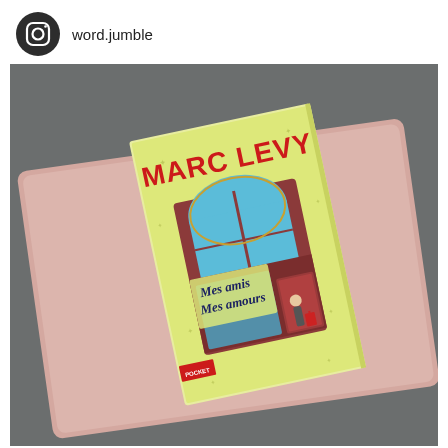word.jumble
[Figure (photo): Instagram post showing a rose gold Apple MacBook laptop on a dark gray sofa, with a paperback book 'Mes amis Mes amours' by Marc Levy (Pocket edition) placed on top of the laptop. The book cover features a light yellow-green background with a storefront illustration in blue and brown tones, with the author's name in large red bold letters at the top.]